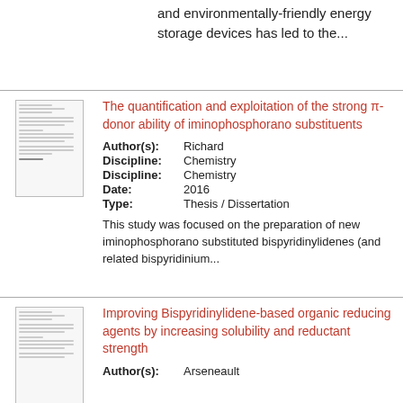and environmentally-friendly energy storage devices has led to the...
The quantification and exploitation of the strong π-donor ability of iminophosphorano substituents
Author(s): Richard
Discipline: Chemistry
Discipline: Chemistry
Date: 2016
Type: Thesis / Dissertation
This study was focused on the preparation of new iminophosphorano substituted bispyridinylidenes (and related bispyridinium...
Improving Bispyridinylidene-based organic reducing agents by increasing solubility and reductant strength
Author(s): Arseneault